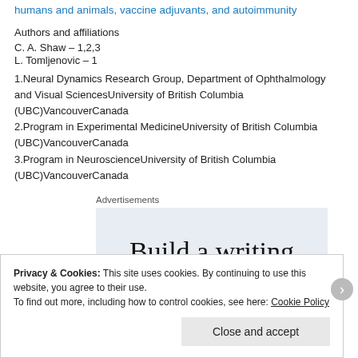humans and animals, vaccine adjuvants, and autoimmunity
Authors and affiliations
C. A. Shaw – 1,2,3
L. Tomljenovic – 1
1.Neural Dynamics Research Group, Department of Ophthalmology and Visual SciencesUniversity of British Columbia (UBC)VancouverCanada
2.Program in Experimental MedicineUniversity of British Columbia (UBC)VancouverCanada
3.Program in NeuroscienceUniversity of British Columbia (UBC)VancouverCanada
Advertisements
[Figure (other): Advertisement box showing partial text 'Build a writing']
Privacy & Cookies: This site uses cookies. By continuing to use this website, you agree to their use.
To find out more, including how to control cookies, see here: Cookie Policy
Close and accept